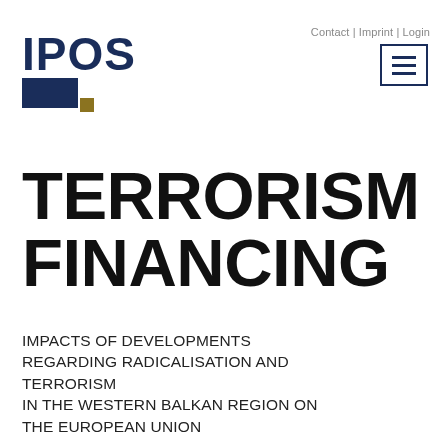[Figure (logo): IPOS logo with dark blue and gold squares]
Contact | Imprint | Login
TERRORISM FINANCING
IMPACTS OF DEVELOPMENTS REGARDING RADICALISATION AND TERRORISM IN THE WESTERN BALKAN REGION ON THE EUROPEAN UNION